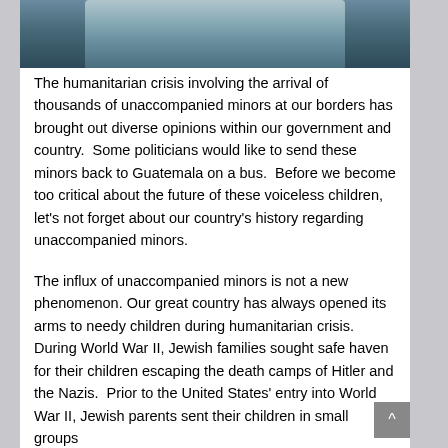[Figure (photo): Partial photo of a child with long hair against a blurred outdoor background, cropped at top]
The humanitarian crisis involving the arrival of thousands of unaccompanied minors at our borders has brought out diverse opinions within our government and country.  Some politicians would like to send these minors back to Guatemala on a bus.  Before we become too critical about the future of these voiceless children, let's not forget about our country's history regarding unaccompanied minors.
The influx of unaccompanied minors is not a new phenomenon. Our great country has always opened its arms to needy children during humanitarian crisis.  During World War II, Jewish families sought safe haven for their children escaping the death camps of Hitler and the Nazis.  Prior to the United States' entry into World War II, Jewish parents sent their children in small groups